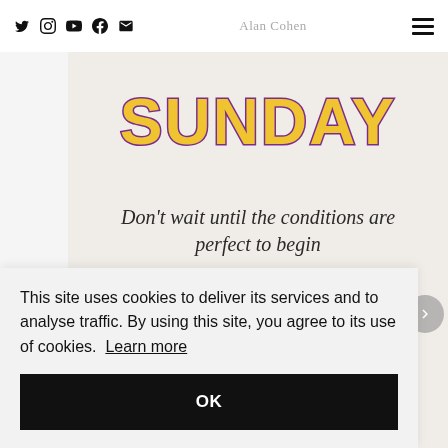Alan Cohen
[Figure (illustration): Card with large stylized 'SUNDAY' text in yellow with purple outline, followed by partial quote 'Don't wait until the conditions are perfect to begin']
This site uses cookies to deliver its services and to analyse traffic. By using this site, you agree to its use of cookies. Learn more
OK